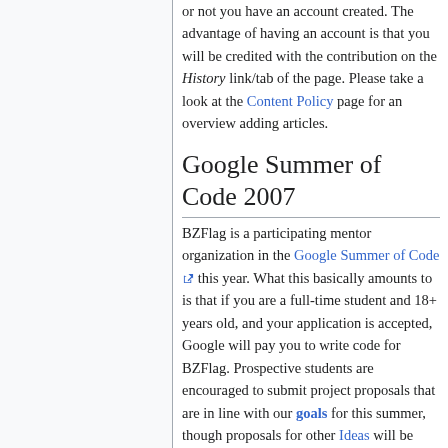or not you have an account created. The advantage of having an account is that you will be credited with the contribution on the History link/tab of the page. Please take a look at the Content Policy page for an overview adding articles.
Google Summer of Code 2007
BZFlag is a participating mentor organization in the Google Summer of Code this year. What this basically amounts to is that if you are a full-time student and 18+ years old, and your application is accepted, Google will pay you to write code for BZFlag. Prospective students are encouraged to submit project proposals that are in line with our goals for this summer, though proposals for other Ideas will be